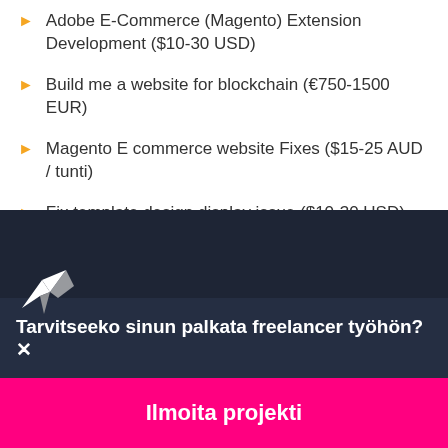Adobe E-Commerce (Magento) Extension Development ($10-30 USD)
Build me a website for blockchain (€750-1500 EUR)
Magento E commerce website Fixes ($15-25 AUD / tunti)
Fix template design display issue ($10-30 USD)
[Figure (logo): Freelancer.com bird logo in white on dark background]
Tarvitseeko sinun palkata freelancer työhön?✕
Ilmoita projekti